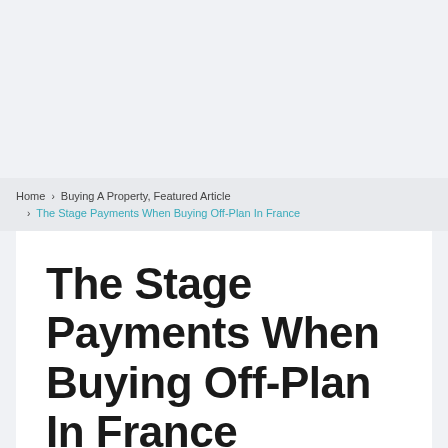Home › Buying A Property, Featured Article › The Stage Payments When Buying Off-Plan In France
The Stage Payments When Buying Off-Plan In France